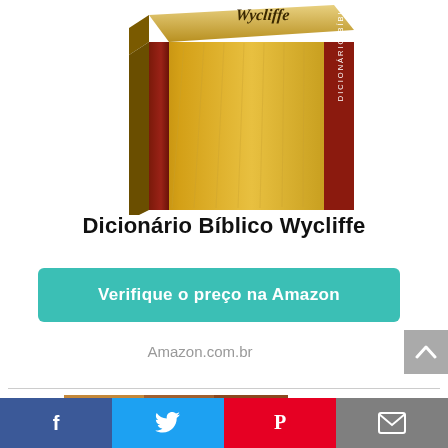[Figure (photo): A golden-covered book titled 'Dicionário Bíblico Wycliffe' with a red spine band, shown in 3D perspective on a white background.]
Dicionário Bíblico Wycliffe
Verifique o preço na Amazon
Amazon.com.br
[Figure (photo): A classical painting showing figures with feet and fabric, lower portion cropped.]
Facebook Twitter Pinterest Email